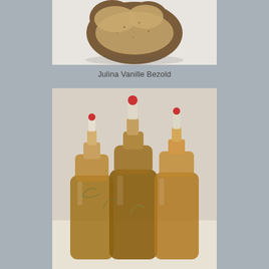[Figure (photo): Close-up photo of a brown heart-shaped cake or baked good with frosting, on a white surface]
Julina Vanille Bezold
[Figure (photo): Three glass carboy jugs filled with amber-colored liquid (possibly mead or apple cider), each fitted with airlock fermentation stoppers topped with red caps, sitting on a light surface against a white wall]